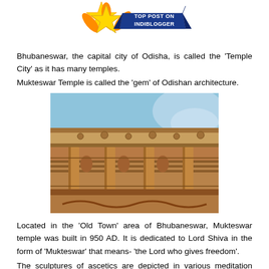[Figure (logo): IndiBlogger Top Post badge — gold star with blue ribbon banner reading 'TOP POST ON INDIBLOGGER']
Bhubaneswar, the capital city of Odisha, is called the 'Temple City' as it has many temples.
Mukteswar Temple is called the 'gem' of Odishan architecture.
[Figure (photo): Close-up photograph of the intricately carved stone exterior of Mukteswar Temple, showing detailed sculpted figures and architectural elements against a blue sky background.]
Located in the 'Old Town' area of Bhubaneswar, Mukteswar temple was built in 950 AD. It is dedicated to Lord Shiva in the form of 'Mukteswar' that means- 'the Lord who gives freedom'.
The sculptures of ascetics are depicted in various meditation positions.
Besides ascetics there are also Well-depicted also the walls. This shows...